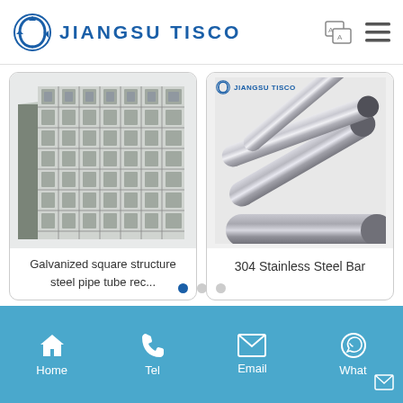JIANGSU TISCO
[Figure (photo): Galvanized square structure steel pipe tubes stacked in a grid pattern]
Galvanized square structure steel pipe tube rec...
[Figure (photo): 304 Stainless Steel Bar - multiple cylindrical steel rods with Jiangsu Tisco logo]
304 Stainless Steel Bar
Home  Tel  Email  What